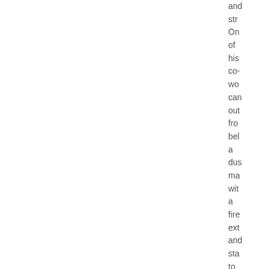and str On of his co- wo can out fro bel a dus ma wit a fire ext and sta to spr the flar ser